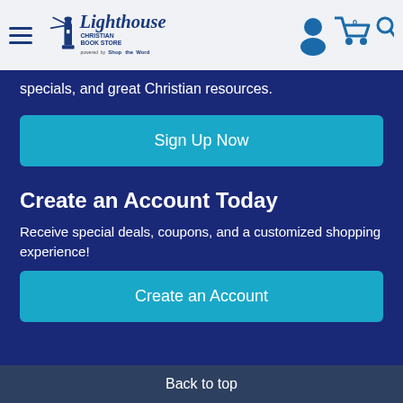Lighthouse Christian Book Store — powered by ShopTheWord
specials, and great Christian resources.
Sign Up Now
Create an Account Today
Receive special deals, coupons, and a customized shopping experience!
Create an Account
Back to top